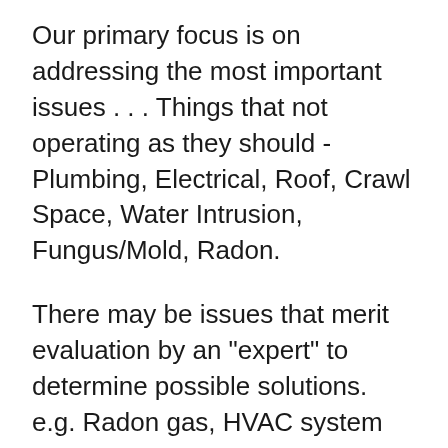Our primary focus is on addressing the most important issues . . . Things that not operating as they should - Plumbing, Electrical, Roof, Crawl Space, Water Intrusion, Fungus/Mold, Radon.
There may be issues that merit evaluation by an "expert" to determine possible solutions. e.g. Radon gas, HVAC system under-performance, Crawl space moisture, Roof leaks, etc.
The contract specifically notes that there is not a requirement to bring any components up to current code standards as long as they